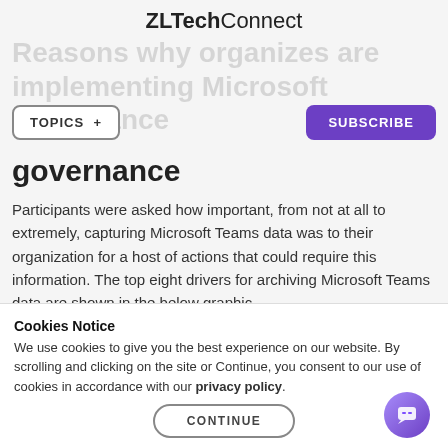ZLTechConnect
Reasons why organizes are implementing Microsoft governance
Participants were asked how important, from not at all to extremely, capturing Microsoft Teams data was to their organization for a host of actions that could require this information. The top eight drivers for archiving Microsoft Teams data are shown in the below graphic.
[Figure (bar-chart): Top Drivers For Archiving And Data Protection In Teams (partially visible)]
Cookies Notice
We use cookies to give you the best experience on our website. By scrolling and clicking on the site or Continue, you consent to our use of cookies in accordance with our privacy policy.